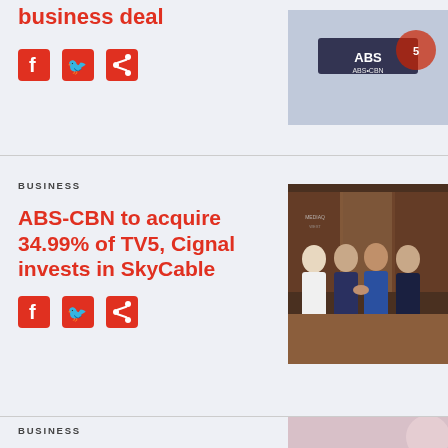business deal
[Figure (photo): ABS-CBN logo and partial photo of business deal]
[Figure (illustration): Facebook, Twitter, and share social icons]
BUSINESS
ABS-CBN to acquire 34.99% of TV5, Cignal invests in SkyCable
[Figure (photo): Group of businesspeople shaking hands at signing event with banners in background]
[Figure (illustration): Facebook, Twitter, and share social icons]
BUSINESS
[Figure (photo): Partial photo of handshake or business meeting]